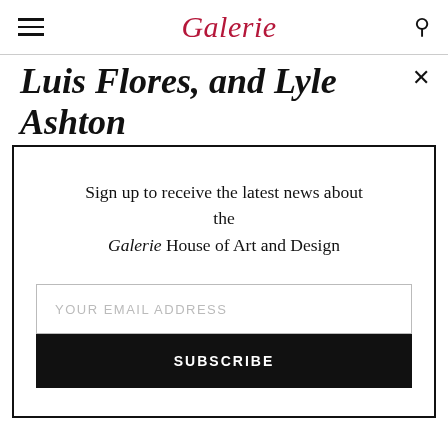Galerie
Luis Flores, and Lyle Ashton Harris
Sign up to receive the latest news about the Galerie House of Art and Design